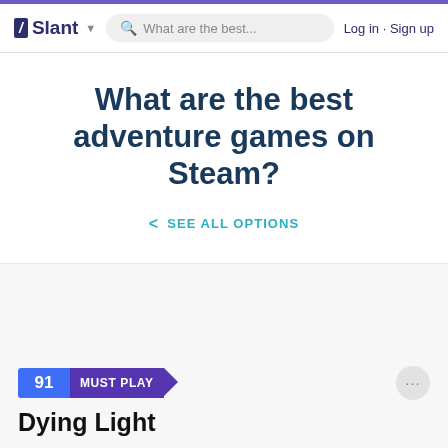/ Slant  What are the best...  Log in · Sign up
What are the best adventure games on Steam?
< SEE ALL OPTIONS
91  MUST PLAY
Dying Light